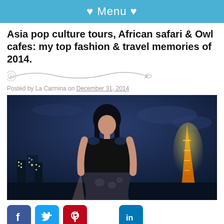♥ Menu ♥
Asia pop culture tours, African safari & Owl cafes: my top fashion & travel memories of 2014.
Posted by La Carmina on December 31, 2014
[Figure (photo): Woman with dark hair in black top and patterned skirt posing on a rooftop at night with city skyline and illuminated tower (Tokyo Tower) in background]
[Figure (infographic): Social media share buttons: Facebook (blue), Twitter (blue), Pinterest (red), LinkedIn (teal)]